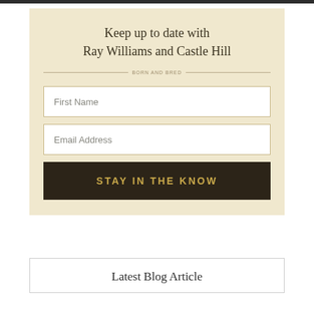Keep up to date with Ray Williams and Castle Hill
First Name
Email Address
STAY IN THE KNOW
Latest Blog Article